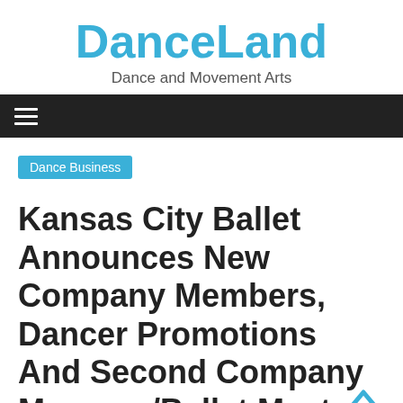DanceLand
Dance and Movement Arts
≡
Dance Business
Kansas City Ballet Announces New Company Members, Dancer Promotions And Second Company Manager/Ballet Master